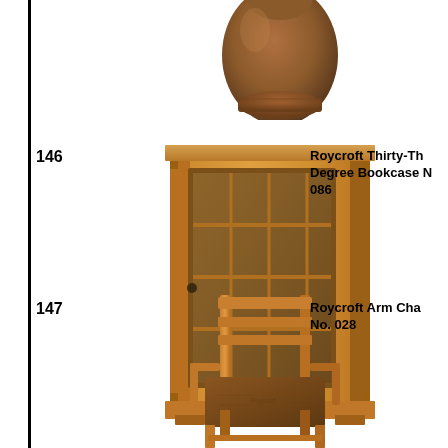[Figure (photo): Ceramic vase, brown/terracotta color, partially cropped at top of page]
146
[Figure (photo): Roycroft glazed-door bookcase with grid pattern glass door, mission oak style, warm golden-brown finish]
Roycroft Thirty-Three Degree Bookcase No. 086
147
[Figure (photo): Roycroft Arm Chair, mission oak style with leather seat, ladder back, arms, No. 028]
Roycroft Arm Chair No. 028